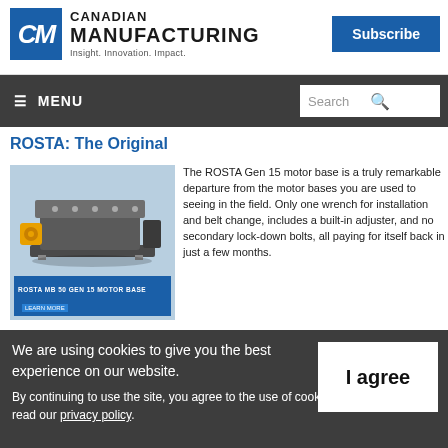Canadian Manufacturing — Insight. Innovation. Impact. | Subscribe
≡ MENU | Search
ROSTA: The Original
[Figure (photo): ROSTA MB 50 Gen 15 motor base product photo with blue background and Learn More button]
The ROSTA Gen 15 motor base is a truly remarkable departure from the motor bases you are used to seeing in the field. Only one wrench for installation and belt change, includes a built-in adjuster, and no secondary lock-down bolts, all paying for itself back in just a few months.
• The MB 50 Gen 15 motor base features: • Easy belt change • No realignment required • Longer belt life • Less maintenance • Dampens peak loads • Longer s
We are using cookies to give you the best experience on our website.
By continuing to use the site, you agree to the use of cookies. To find out more, read our privacy policy.